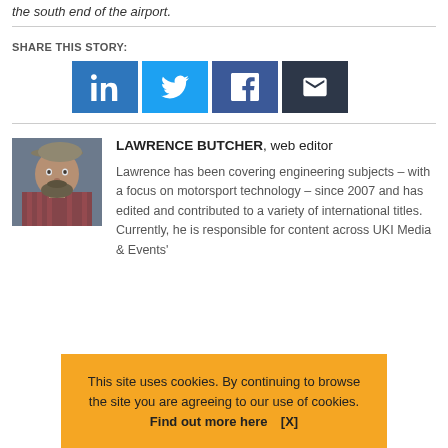the south end of the airport.
SHARE THIS STORY:
[Figure (other): Social share buttons: LinkedIn, Twitter, Facebook, Email]
[Figure (photo): Portrait photo of Lawrence Butcher wearing a flat cap and plaid shirt]
LAWRENCE BUTCHER, web editor
Lawrence has been covering engineering subjects – with a focus on motorsport technology – since 2007 and has edited and contributed to a variety of international titles. Currently, he is responsible for content across UKI Media & Events'
This site uses cookies. By continuing to browse the site you are agreeing to our use of cookies. Find out more here [X]